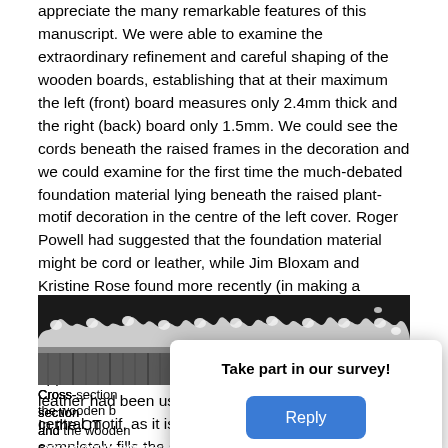appreciate the many remarkable features of this manuscript. We were able to examine the extraordinary refinement and careful shaping of the wooden boards, establishing that at their maximum the left (front) board measures only 2.4mm thick and the right (back) board only 1.5mm. We could see the cords beneath the raised frames in the decoration and we could examine for the first time the much-debated foundation material lying beneath the raised plant-motif decoration in the centre of the left cover. Roger Powell had suggested that the foundation material might be cord or leather, while Jim Bloxam and Kristine Rose found more recently (in making a facsimile of the binding which they generously made available to the project) that gesso could be used to produce comparable results. It was immediately apparent from the CT scan that neither cord nor leather had been used for the foundation of the central motif, as it is a clay-like material which completely fills the space between the leather and the board.
[Figure (photo): Cross-section CT scan image showing the leather and the wooden board layers]
Cross-section … leather and the wooden b…
In the CT s… ows as a dull grey, c… accurate